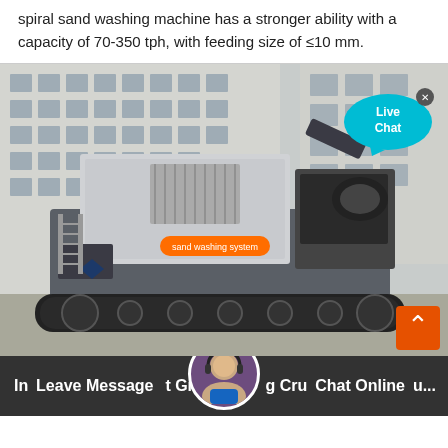spiral sand washing machine has a stronger ability with a capacity of 70-350 tph, with feeding size of ≤10 mm.
[Figure (photo): A large tracked industrial crushing/sand washing machine photographed outdoors in front of a multi-story building. The machine is gray and black with an orange label on the side, mounted on crawler tracks. A 'Live Chat' speech bubble overlay appears in the upper right corner of the image.]
In  Leave Message  t Gr  g Cru  Chat Online  u...